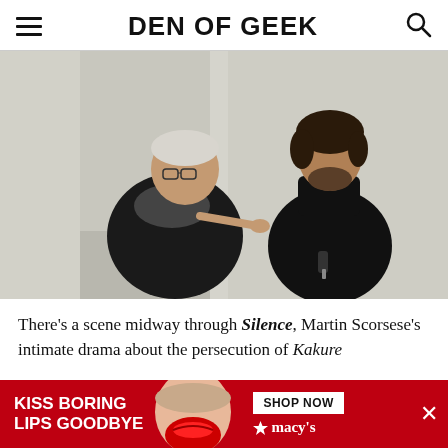DEN OF GEEK
[Figure (photo): Two men in a white interior setting — an older man with glasses and a scarf gesturing with his finger, and a younger man in a dark coat looking down, holding something small.]
There's a scene midway through Silence, Martin Scorsese's intimate drama about the persecution of Kakure
[Figure (other): Advertisement banner: red background with 'KISS BORING LIPS GOODBYE' text, a woman's face with red lips, 'SHOP NOW' button, and Macy's star logo.]